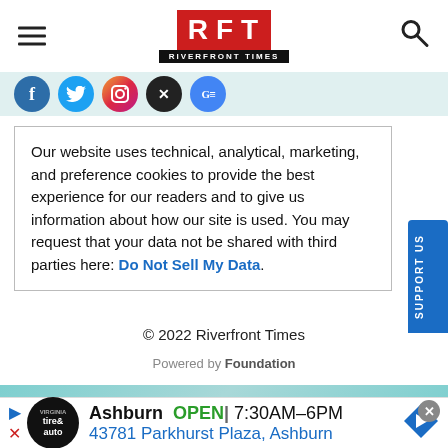[Figure (logo): RFT Riverfront Times logo - red square with white R, F, T letters and black subtitle bar]
[Figure (illustration): Social media icons bar: Facebook, Twitter, Instagram, X, Google]
Our website uses technical, analytical, marketing, and preference cookies to provide the best experience for our readers and to give us information about how our site is used. You may request that your data not be shared with third parties here: Do Not Sell My Data.
© 2022 Riverfront Times
Powered by Foundation
[Figure (illustration): Advertisement: Ashburn OPEN 7:30AM-6PM, 43781 Parkhurst Plaza, Ashburn with tire & auto logo]